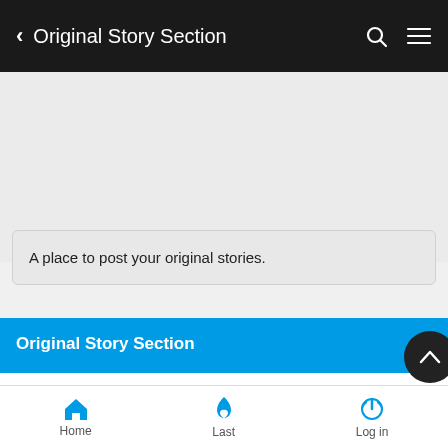< Original Story Section
A place to post your original stories.
Original Story Section
Original Lore — 4 Posts — This is the place you post your original LORE! Remember
Home  Last  Log in